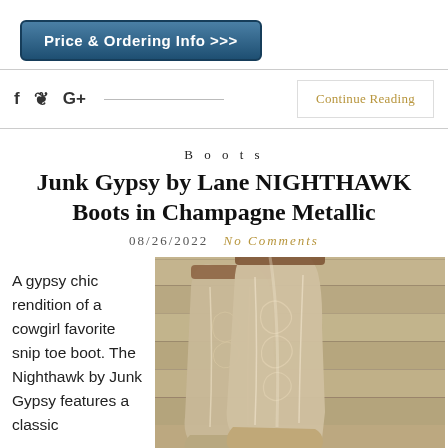[Figure (other): Dark blue rounded rectangle button with white bold text 'Price & Ordering Info >>>']
f  ♦  G+
Continue Reading
Boots
Junk Gypsy by Lane NIGHTHAWK Boots in Champagne Metallic
08/26/2022   No Comments
A gypsy chic rendition of a cowgirl favorite snip toe boot. The Nighthawk by Junk Gypsy features a classic
[Figure (photo): Close-up photo of champagne metallic cowboy boots leaning against a weathered wood plank wall]